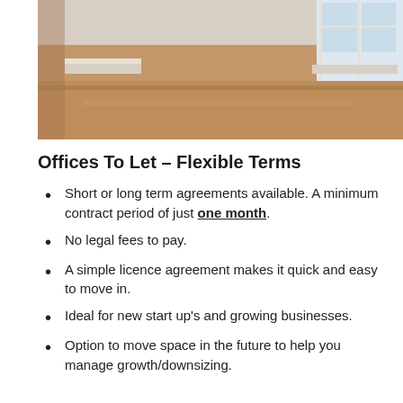[Figure (photo): Interior photo of an empty office room with wooden laminate flooring, white walls, white baseboard heaters, and windows visible in the background.]
Offices To Let – Flexible Terms
Short or long term agreements available. A minimum contract period of just one month.
No legal fees to pay.
A simple licence agreement makes it quick and easy to move in.
Ideal for new start up's and growing businesses.
Option to move space in the future to help you manage growth/downsizing.